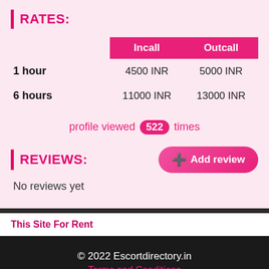RATES:
|  | Incall | Outcall |
| --- | --- | --- |
| 1 hour | 4500 INR | 5000 INR |
| 6 hours | 11000 INR | 13000 INR |
profile viewed 522 times
REVIEWS:
Add review
No reviews yet
This Site For Rent
© 2022 Escortdirectory.in
Terms and Conditions
Privacy Policy
DMCA PROTECTED